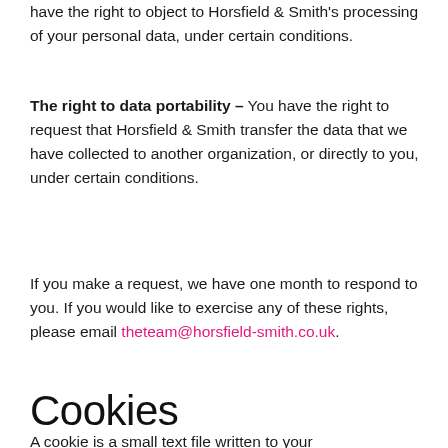have the right to object to Horsfield & Smith's processing of your personal data, under certain conditions.
The right to data portability – You have the right to request that Horsfield & Smith transfer the data that we have collected to another organization, or directly to you, under certain conditions.
If you make a request, we have one month to respond to you. If you would like to exercise any of these rights, please email theteam@horsfield-smith.co.uk.
Cookies
A cookie is a small text file written to your